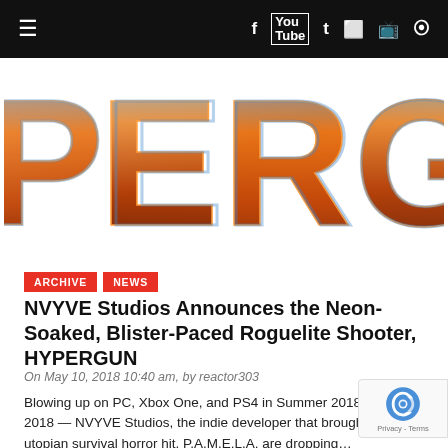≡   f  YouTube  Twitter  Flickr  Twitch  RSS
[Figure (logo): HYPERGUN game logo showing large letters 'PERG' (partial) in orange/blue neon metallic style on white background]
ARCHIVE
NEWS
NVYVE Studios Announces the Neon-Soaked, Blister-Paced Roguelite Shooter, HYPERGUN
On May 10, 2018 10:40 am, by reactor303
Blowing up on PC, Xbox One, and PS4 in Summer 2018 May 1 2018 — NVYVE Studios, the indie developer that brought pla utopian survival horror hit, P.A.M.E.L.A. are dropping…